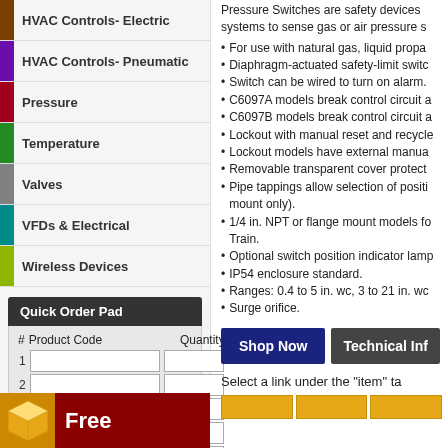HVAC Controls- Electric
HVAC Controls- Pneumatic
Pressure
Temperature
Valves
VFDs & Electrical
Wireless Devices
Quick Order Pad
| # | Product Code | Quantity |
| --- | --- | --- |
| 1 |  |  |
| 2 |  |  |
| 3 |  |  |
| 4 |  |  |
| 5 |  |  |
Add to Cart
Free
Pressure Switches are safety devices systems to sense gas or air pressure s
For use with natural gas, liquid propa
Diaphragm-actuated safety-limit switc
Switch can be wired to turn on alarm.
C6097A models break control circuit a
C6097B models break control circuit a
Lockout with manual reset and recycl
Lockout models have external manua
Removable transparent cover protect
Pipe tappings allow selection of positi mount only).
1/4 in. NPT or flange mount models fo Train.
Optional switch position indicator lam
IP54 enclosure standard.
Ranges: 0.4 to 5 in. wc, 3 to 21 in. wc
Surge orifice.
Shop Now
Technical Inf
Select a link under the "item" ta
[Figure (other): Yellow tab row for item selection]